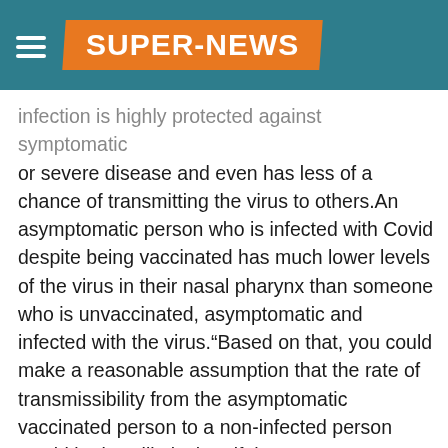SUPER-NEWS
infection is highly protected against symptomatic or severe disease and even has less of a chance of transmitting the virus to others.An asymptomatic person who is infected with Covid despite being vaccinated has much lower levels of the virus in their nasal pharynx than someone who is unvaccinated, asymptomatic and infected with the virus.“Based on that, you could make a reasonable assumption that the rate of transmissibility from the asymptomatic vaccinated person to a non-infected person would be less likely than if the person was unvaccinated,” Fauci said.Current rates of asymptomatic breakthrough infections are largely unknown after the CDC decided to count only the breakthrough cases that resulted in